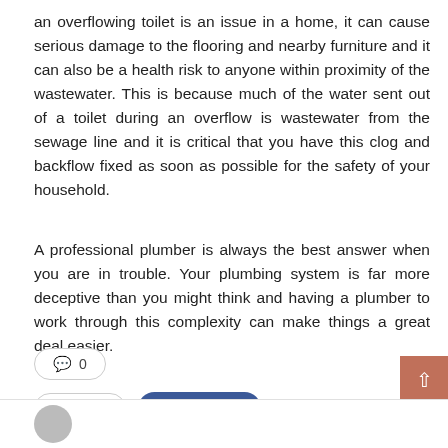an overflowing toilet is an issue in a home, it can cause serious damage to the flooring and nearby furniture and it can also be a health risk to anyone within proximity of the wastewater. This is because much of the water sent out of a toilet during an overflow is wastewater from the sewage line and it is critical that you have this clog and backflow fixed as soon as possible for the safety of your household.
A professional plumber is always the best answer when you are in trouble. Your plumbing system is far more deceptive than you might think and having a plumber to work through this complexity can make things a great deal easier.